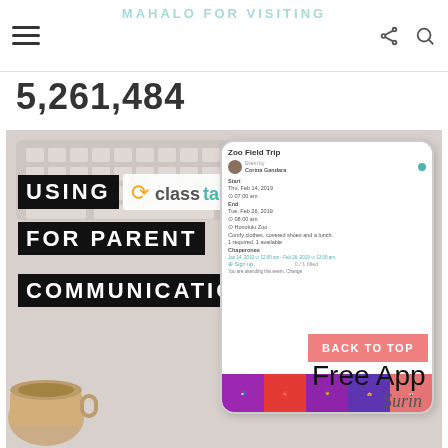MAHALO FOR VISITING
5,261,484
[Figure (screenshot): Promotional image for ClassTag app showing the text 'USING ClassTag FOR PARENT COMMUNICATION' overlaid on a background with a keyboard and coffee cup. A tablet displays the ClassTag app interface showing a 'Zoo Field Trip' event. Bottom text reads 'Free App For Educa...' with a BACK TO TOP button.]